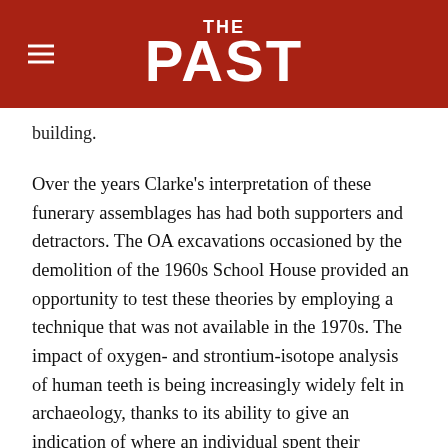THE PAST
building.
Over the years Clarke’s interpretation of these funerary assemblages has had both supporters and detractors. The OA excavations occasioned by the demolition of the 1960s School House provided an opportunity to test these theories by employing a technique that was not available in the 1970s. The impact of oxygen- and strontium-isotope analysis of human teeth is being increasingly widely felt in archaeology, thanks to its ability to give an indication of where an individual spent their childhood years. It is, though, worth stressing that its use in archaeological enquiries is still in its infancy, and the technique will doubtless be refined in years to come. Nevertheless this, coupled with modern approaches to artefacts and osteology, is allowing us to build up an ever more detailed picture of the community laid to rest at